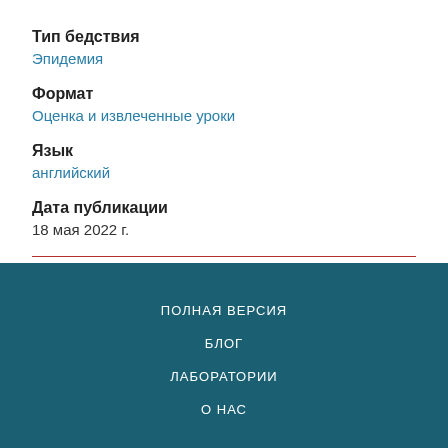Тип бедствия
Эпидемия
Формат
Оценка и извлеченные уроки
Язык
английский
Дата публикации
18 мая 2022 г.
ПОЛНАЯ ВЕРСИЯ
БЛОГ
ЛАБОРАТОРИИ
О НАС